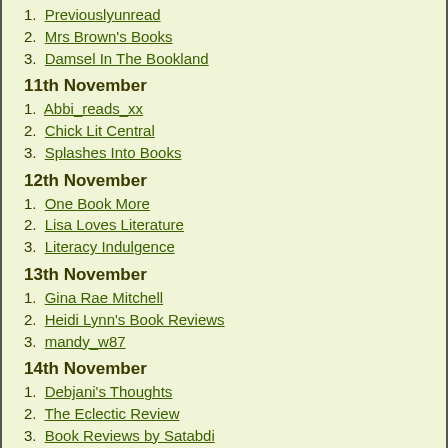1. Previouslyunread
2. Mrs Brown's Books
3. Damsel In The Bookland
11th November
1. Abbi_reads_xx
2. Chick Lit Central
3. Splashes Into Books
12th November
1. One Book More
2. Lisa Loves Literature
3. Literacy Indulgence
13th November
1. Gina Rae Mitchell
2. Heidi Lynn's Book Reviews
3. mandy_w87
14th November
1. Debjani's Thoughts
2. The Eclectic Review
3. Book Reviews by Satabdi
15th November
1. The CHRONICALIST
2. Books and Bindings
3. Reading Tonic